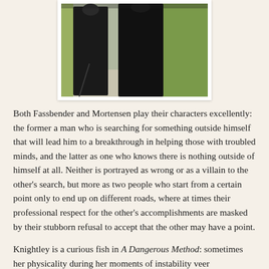[Figure (photo): Partial photo of two figures dressed in dark/black clothing, with green foliage and a light path visible in the background. Top portion of image is cropped.]
Both Fassbender and Mortensen play their characters excellently: the former a man who is searching for something outside himself that will lead him to a breakthrough in helping those with troubled minds, and the latter as one who knows there is nothing outside of himself at all.  Neither is portrayed as wrong or as a villain to the other's search, but more as two people who start from a certain point only to end up on different roads, where at times their professional respect for the other's accomplishments are masked by their stubborn refusal to accept that the other may have a point.
Knightley is a curious fish in A Dangerous Method: sometimes her physicality during her moments of instability veer dangerously close to parody: her jutting out of the chin, the way her body contorts to resembled a beheaded chicken.  I also worry that when Jung breaks with her sexually, she comes close to issuing the Edwardian version of "I'm not going to be ignored" a la Glenn Close in Fatal Attraction.   Still, one has to give her credit for not holding back on portraying the negative of Sabina if even though at